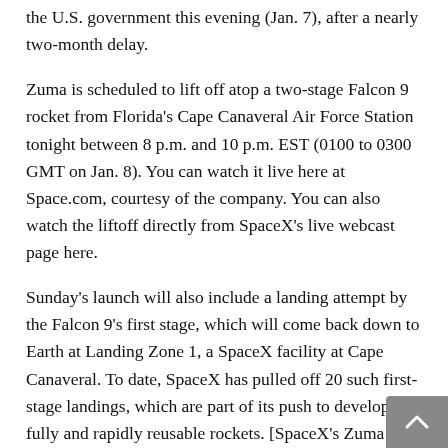the U.S. government this evening (Jan. 7), after a nearly two-month delay.
Zuma is scheduled to lift off atop a two-stage Falcon 9 rocket from Florida's Cape Canaveral Air Force Station tonight between 8 p.m. and 10 p.m. EST (0100 to 0300 GMT on Jan. 8). You can watch it live here at Space.com, courtesy of the company. You can also watch the liftoff directly from SpaceX's live webcast page here.
Sunday's launch will also include a landing attempt by the Falcon 9's first stage, which will come back down to Earth at Landing Zone 1, a SpaceX facility at Cape Canaveral. To date, SpaceX has pulled off 20 such first-stage landings, which are part of its push to develop fully and rapidly reusable rockets. [SpaceX's Zuma Launch: Here's What We Know]
Zuma is a U.S. government spacecraft headed to